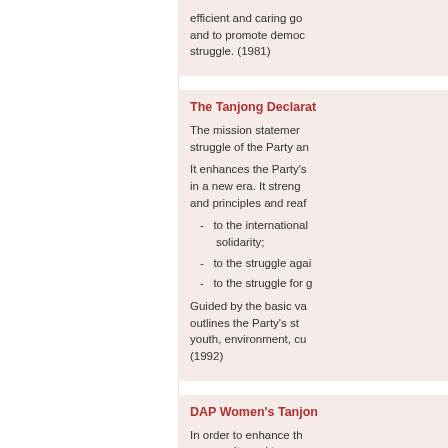efficient and caring go and to promote democ struggle. (1981)
The Tanjong Declaration
The mission statemer struggle of the Party an
It enhances the Party's in a new era. It streng and principles and reaf
to the international solidarity;
to the struggle agai
to the struggle for g
Guided by the basic va outlines the Party's st youth, environment, cu (1992)
DAP Women's Tanjon
In order to enhance th community and to acc subjugation, the DA programmes in 1992:
opposition of all fo woman;